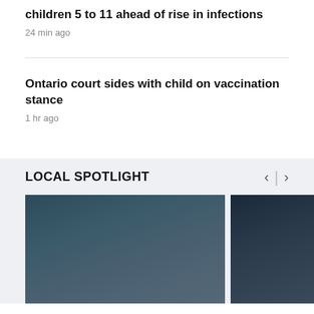children 5 to 11 ahead of rise in infections
24 min ago
Ontario court sides with child on vaccination stance
1 hr ago
LOCAL SPOTLIGHT
[Figure (photo): Young girl in white lab coat standing at a science display table with various items and signage, in a dark-teal walled room]
[Figure (photo): Crowd of people at what appears to be an event or concert, partially visible]